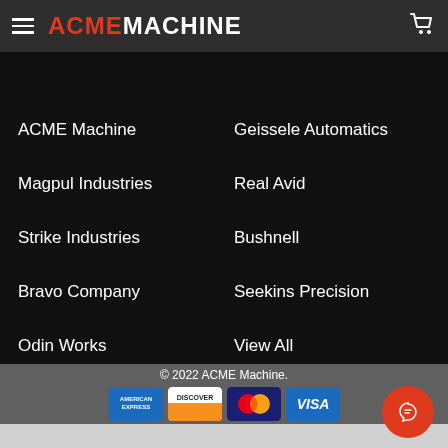ACME MACHINE
ACME Machine
Geissele Automatics
Magpul Industries
Real Avid
Strike Industries
Bushnell
Bravo Company
Seekins Precision
Odin Works
View All
© 2022 ACME Machine.
[Figure (logo): Payment method icons: American Express, Discover, Mastercard, Visa]